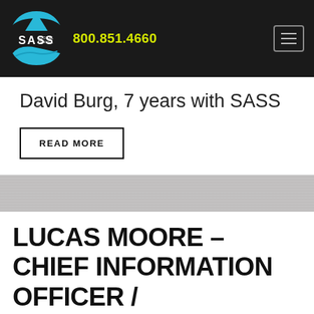SASS Global Travel | 800.851.4660
David Burg, 7 years with SASS
READ MORE
LUCAS MOORE – CHIEF INFORMATION OFFICER /